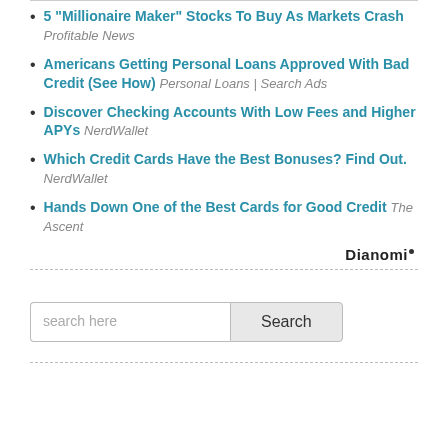5 "Millionaire Maker" Stocks To Buy As Markets Crash Profitable News
Americans Getting Personal Loans Approved With Bad Credit (See How) Personal Loans | Search Ads
Discover Checking Accounts With Low Fees and Higher APYs NerdWallet
Which Credit Cards Have the Best Bonuses? Find Out. NerdWallet
Hands Down One of the Best Cards for Good Credit The Ascent
[Figure (logo): Dianomi logo]
search here
Search